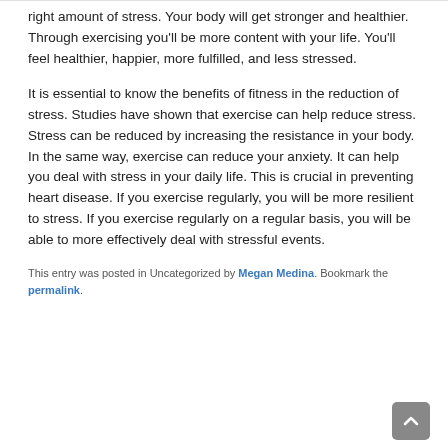right amount of stress. Your body will get stronger and healthier. Through exercising you'll be more content with your life. You'll feel healthier, happier, more fulfilled, and less stressed.
It is essential to know the benefits of fitness in the reduction of stress. Studies have shown that exercise can help reduce stress. Stress can be reduced by increasing the resistance in your body. In the same way, exercise can reduce your anxiety. It can help you deal with stress in your daily life. This is crucial in preventing heart disease. If you exercise regularly, you will be more resilient to stress. If you exercise regularly on a regular basis, you will be able to more effectively deal with stressful events.
This entry was posted in Uncategorized by Megan Medina. Bookmark the permalink.